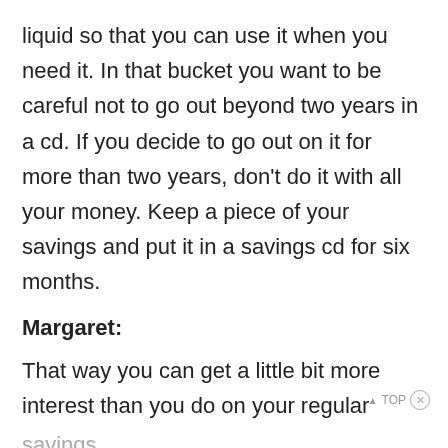liquid so that you can use it when you need it. In that bucket you want to be careful not to go out beyond two years in a cd. If you decide to go out on it for more than two years, don't do it with all your money. Keep a piece of your savings and put it in a savings cd for six months.
Margaret:
That way you can get a little bit more interest than you do on your regular savings.